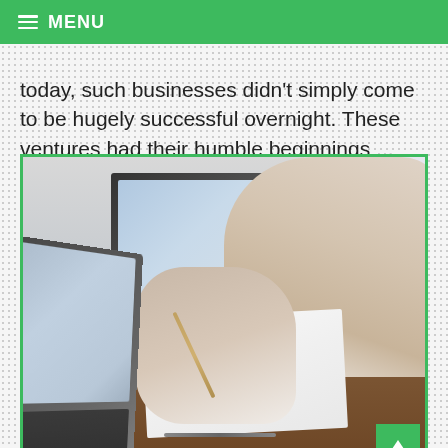≡ MENU
today, such businesses didn't simply come to be hugely successful overnight. These ventures had their humble beginnings ...
Read More
[Figure (photo): Two business people at a desk with laptops, one writing on paper with a pen, business meeting scene]